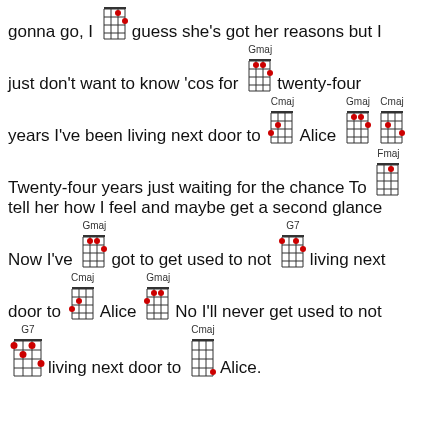[Figure (illustration): Song chord sheet for 'Living Next Door to Alice' with ukulele chord diagrams (Gmaj, Cmaj, Fmaj, G7) inline with lyrics]
gonna go, I [chord] guess she's got her reasons but I just don't want to know 'cos for [Gmaj chord] twenty-four years I've been living next door to [Cmaj chord] Alice [Gmaj chord][Cmaj chord] [Fmaj chord] Twenty-four years just waiting for the chance To tell her how I feel and maybe get a second glance Now I've [Gmaj chord] got to get used to not [G7 chord] living next door to [Cmaj chord] Alice [Gmaj chord] No I'll never get used to not [G7 chord] living next door to [Cmaj chord] Alice.